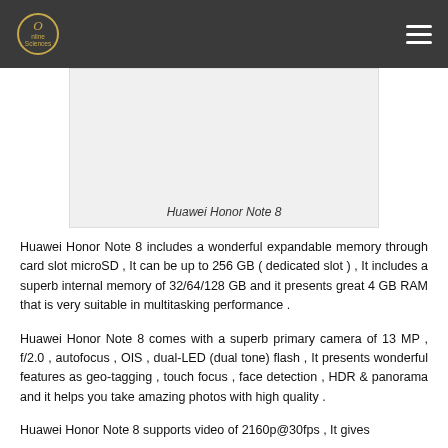Online Sciences
[Figure (photo): Huawei Honor Note 8 device image placeholder]
Huawei Honor Note 8
Huawei Honor Note 8 includes a wonderful expandable memory through card slot microSD , It can be up to 256 GB ( dedicated slot ) , It includes a superb internal memory of 32/64/128 GB and it presents great 4 GB RAM that is very suitable in multitasking performance .
Huawei Honor Note 8 comes with a superb primary camera of 13 MP , f/2.0 , autofocus , OIS , dual-LED (dual tone) flash , It presents wonderful features as geo-tagging , touch focus , face detection , HDR & panorama and it helps you take amazing photos with high quality .
Huawei Honor Note 8 supports video of 2160p@30fps , It gives